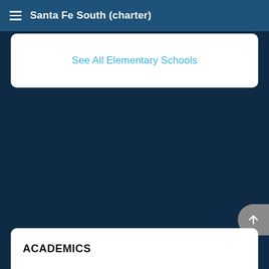Santa Fe South (charter)
See All Elementary Schools
ACADEMICS